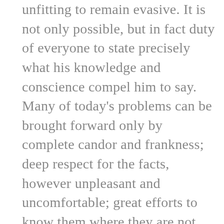unfitting to remain evasive. It is not only possible, but in fact duty of everyone to state precisely what his knowledge and conscience compel him to say. Many of today's problems can be brought forward only by complete candor and frankness; deep respect for the facts, however unpleasant and uncomfortable; great efforts to know them where they are not readily available; and drawing conclusions guided only by rigorous logic.
To have courage means to pursue your goals, or to satisfy your responsibilities, even though others stand in the way and success seems like a dream. It takes courage to stand and fight for what you believe is right. And the fight never ends. You have to start it over again each